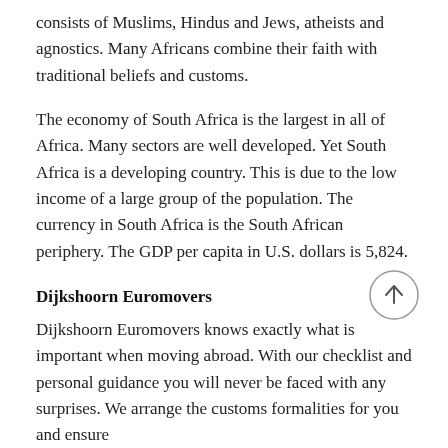consists of Muslims, Hindus and Jews, atheists and agnostics. Many Africans combine their faith with traditional beliefs and customs.
The economy of South Africa is the largest in all of Africa. Many sectors are well developed. Yet South Africa is a developing country. This is due to the low income of a large group of the population. The currency in South Africa is the South African periphery. The GDP per capita in U.S. dollars is 5,824.
Dijkshoorn Euromovers
Dijkshoorn Euromovers knows exactly what is important when moving abroad. With our checklist and personal guidance you will never be faced with any surprises. We arrange the customs formalities for you and ensure